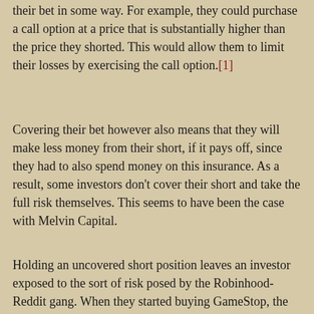their bet in some way. For example, they could purchase a call option at a price that is substantially higher than the price they shorted. This would allow them to limit their losses by exercising the call option.[1]
Covering their bet however also means that they will make less money from their short, if it pays off, since they had to also spend money on this insurance. As a result, some investors don't cover their short and take the full risk themselves. This seems to have been the case with Melvin Capital.
Holding an uncovered short position leaves an investor exposed to the sort of risk posed by the Robinhood-Reddit gang. When they started buying GameStop, the price began to rise rapidly. This put Melvin Capital more in the hole.
The hedge fund's creditors wanted them to limit their losses, which meant that they had to rush out and buy shares, covering their position. This sent the price still higher. The net result was that the price rose by more than 1500 percent, from just under $20 a share earlier this month, to a